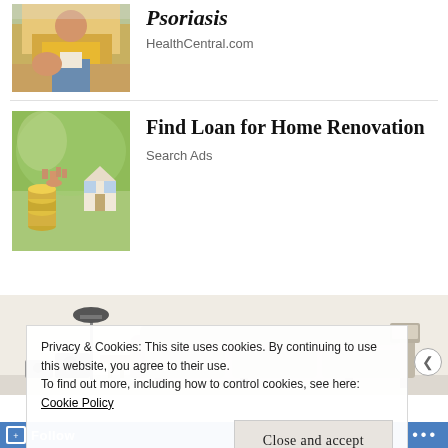[Figure (photo): Person in yellow sweater holding paper, seated on couch - partial/cropped view]
Psoriasis
HealthCentral.com
[Figure (photo): Hand placing coin on stack of coins next to small house model]
Find Loan for Home Renovation
Search Ads
[Figure (photo): Modern recliner sofa/couch with lamp and side tables]
Privacy & Cookies: This site uses cookies. By continuing to use this website, you agree to their use.
To find out more, including how to control cookies, see here: Cookie Policy
Close and accept
Follow ...